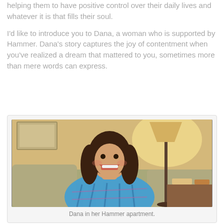helping them to have positive control over their daily lives and whatever it is that fills their soul.
I'd like to introduce you to Dana, a woman who is supported by Hammer. Dana's story captures the joy of contentment when you've realized a dream that mattered to you, sometimes more than mere words can express.
[Figure (photo): A smiling woman with long dark hair wearing a blue plaid flannel shirt, sitting on a couch in a warm apartment with a floor lamp behind her.]
Dana in her Hammer apartment.